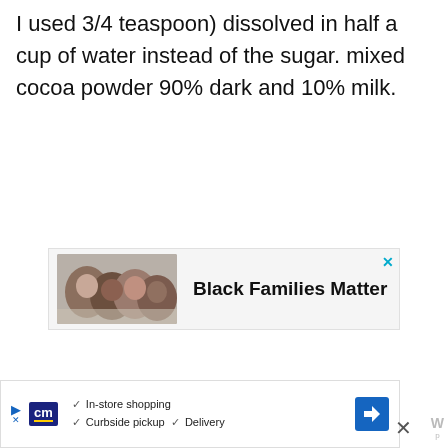I used 3/4 teaspoon) dissolved in half a cup of water instead of the sugar. mixed cocoa powder 90% dark and 10% milk.
[Figure (infographic): Advertisement banner: photo of smiling family (four people lying close together) next to bold text 'Black Families Matter' with a close (x) button in cyan.]
[Figure (infographic): Bottom advertisement banner: cm logo in dark blue, checkmarks listing 'In-store shopping', 'Curbside pickup', 'Delivery', navigation arrow icon, close button, and watermark logo.]